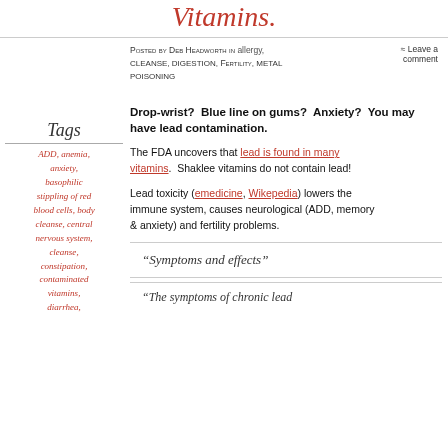Vitamins.
Posted by Deb Headworth in allergy, cleanse, digestion, Fertility, metal poisoning
≈ Leave a comment
Tags
ADD, anemia, anxiety, basophilic stippling of red blood cells, body cleanse, central nervous system, cleanse, constipation, contaminated vitamins, diarrhea,
Drop-wrist?  Blue line on gums?  Anxiety?  You may have lead contamination.
The FDA uncovers that lead is found in many vitamins.  Shaklee vitamins do not contain lead!
Lead toxicity (emedicine, Wikepedia) lowers the immune system, causes neurological (ADD, memory & anxiety) and fertility problems.
“Symptoms and effects”
“The symptoms of chronic lead